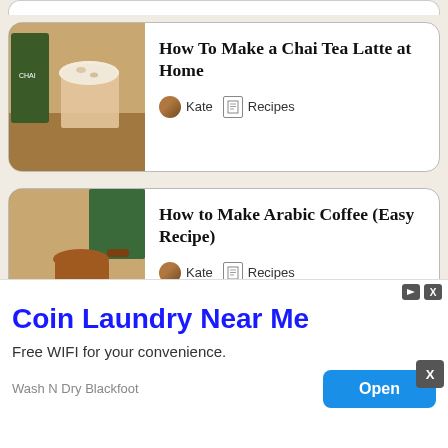[Figure (screenshot): Partial card top edge visible at top of page]
How To Make a Chai Tea Latte at Home
Kate   Recipes
[Figure (photo): Photo of chai tea latte in a glass with chai tea package]
How to Make Arabic Coffee (Easy Recipe)
Kate   Recipes
[Figure (photo): Photo of Arabic coffee being poured into a blue decorative cup]
[Figure (screenshot): Partial third card showing blurred title text]
Coin Laundry Near Me
Free WIFI for your convenience.
Wash N Dry Blackfoot
Open